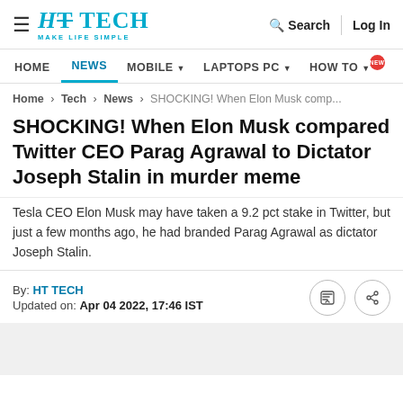HT TECH MAKE LIFE SIMPLE | Search | Log In
HOME | NEWS | MOBILE | LAPTOPS PC | HOW TO NEW
Home > Tech > News > SHOCKING! When Elon Musk comp...
SHOCKING! When Elon Musk compared Twitter CEO Parag Agrawal to Dictator Joseph Stalin in murder meme
Tesla CEO Elon Musk may have taken a 9.2 pct stake in Twitter, but just a few months ago, he had branded Parag Agrawal as dictator Joseph Stalin.
By: HT TECH
Updated on: Apr 04 2022, 17:46 IST